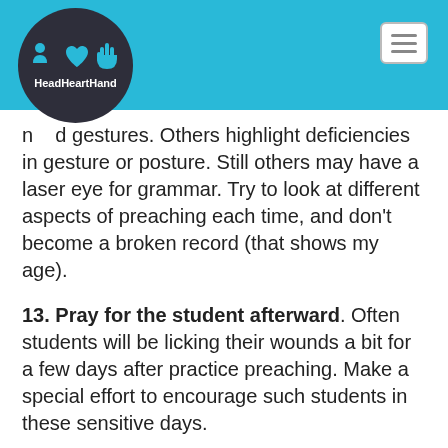[Figure (logo): HeadHeartHand logo: dark circular badge with two blue human figures and a hand icon, with text 'HeadHeartHand' below the icons in white]
n... ...d gestures. Others highlight deficiencies in gesture or posture. Still others may have a laser eye for grammar. Try to look at different aspects of preaching each time, and don't become a broken record (that shows my age).
13. Pray for the student afterward. Often students will be licking their wounds a bit for a few days after practice preaching. Make a special effort to encourage such students in these sensitive days.
Perhaps those who have been on the receiving end of “critiques” might want to supplement